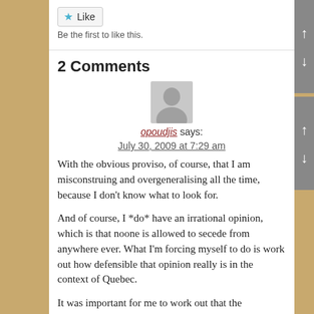Like
Be the first to like this.
2 Comments
[Figure (illustration): Generic user avatar placeholder - grey silhouette of a person on grey background]
opoudjis says:
July 30, 2009 at 7:29 am
With the obvious proviso, of course, that I am misconstruing and overgeneralising all the time, because I don't know what to look for.

And of course, I *do* have an irrational opinion, which is that noone is allowed to secede from anywhere ever. What I'm forcing myself to do is work out how defensible that opinion really is in the context of Quebec.

It was important for me to work out that the mainstream nationalism of Quebec is civic; it